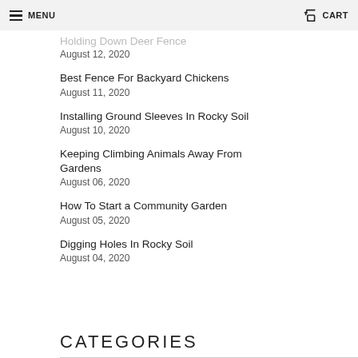MENU  CART
Holding Down Deer Fence
August 12, 2020
Best Fence For Backyard Chickens
August 11, 2020
Installing Ground Sleeves In Rocky Soil
August 10, 2020
Keeping Climbing Animals Away From Gardens
August 06, 2020
How To Start a Community Garden
August 05, 2020
Digging Holes In Rocky Soil
August 04, 2020
CATEGORIES